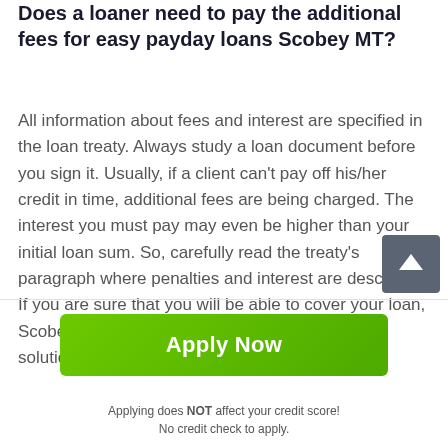Does a loaner need to pay the additional fees for easy payday loans Scobey MT?
All information about fees and interest are specified in the loan treaty. Always study a loan document before you sign it. Usually, if a client can't pay off his/her credit in time, additional fees are being charged. The interest you must pay may even be higher than your initial loan sum. So, carefully read the treaty's paragraph where penalties and interest are described. If you are sure that you will be able to cover your loan, Scobey payday loans online can become a great solution of your temporary financial problems.
[Figure (other): Scroll-to-top button icon: dark gray rounded square with white upward arrow]
Apply Now
Applying does NOT affect your credit score!
No credit check to apply.